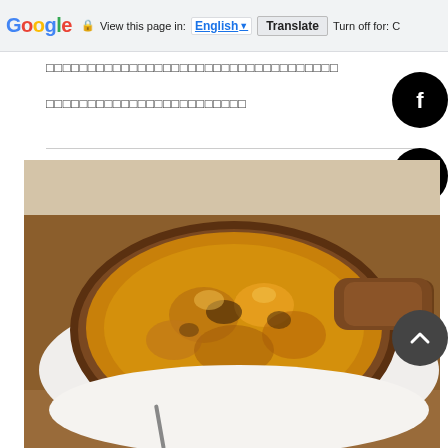Google | View this page in: English | Translate | Turn off for: C
□□□□□□□□□□□□□□□□□□□□□□□□□□□□□□□□□□□
□□□□□□□□□□□□□□□□□□□□□□□□
[Figure (photo): A baked dish in a round clay/terracotta pan with a handle, served on a white plate on a wooden table. The dish appears to be a gratin or clafoutis, golden-brown and bubbling on top.]